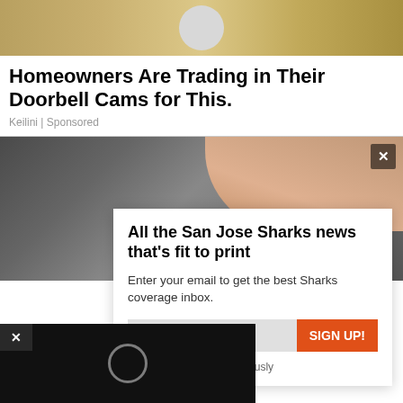[Figure (photo): Top strip image showing textured stone or wall surface with a circular element in the center]
Homeowners Are Trading in Their Doorbell Cams for This.
Keilini | Sponsored
[Figure (photo): Photo of a person's arm resting on a dark grey couch/sofa]
All the San Jose Sharks news that's fit to print
Enter your email to get the best Sharks coverage inbox.
here
SIGN UP!
and take protecting it seriously
[Figure (screenshot): Video player overlay showing black background with loading circle icon and X close button]
Earnie.